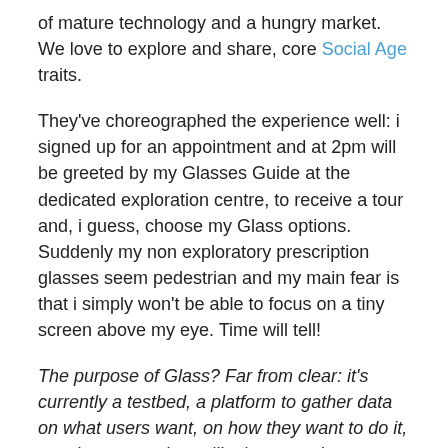of mature technology and a hungry market. We love to explore and share, core Social Age traits.
They've choreographed the experience well: i signed up for an appointment and at 2pm will be greeted by my Glasses Guide at the dedicated exploration centre, to receive a tour and, i guess, choose my Glass options. Suddenly my non exploratory prescription glasses seem pedestrian and my main fear is that i simply won't be able to focus on a tiny screen above my eye. Time will tell!
The purpose of Glass? Far from clear: it's currently a testbed, a platform to gather data on what users want, on how they want to do it, on what our society will tolerate and on whether the technology can deliver.
In the UK we have already seen the earliest flurry of